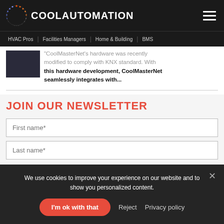COOL AUTOMATION
HVAC Pros | Facilities Managers | Home & Building | BMS
"CoolMasterNet's hardware was recently modified to comply with KNX standard. With this hardware development, CoolMasterNet seamlessly integrates with...
JOIN OUR NEWSLETTER
First name*
Last name*
We use cookies to improve your experience on our website and to show you personalized content.
I'm ok with that | Reject | Privacy policy